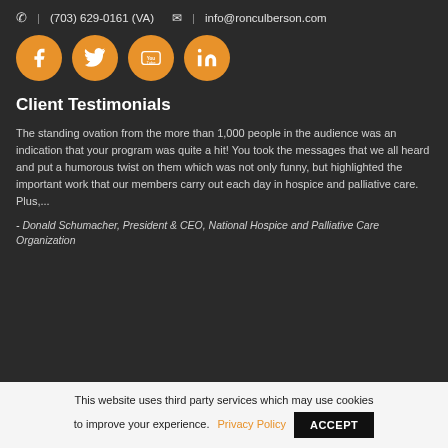(703) 629-0161 (VA)  |  info@ronculberson.com
[Figure (illustration): Four orange circular social media icons: Facebook, Twitter, YouTube, LinkedIn]
Client Testimonials
The standing ovation from the more than 1,000 people in the audience was an indication that your program was quite a hit! You took the messages that we all heard and put a humorous twist on them which was not only funny, but highlighted the important work that our members carry out each day in hospice and palliative care. Plus,...
- Donald Schumacher, President & CEO, National Hospice and Palliative Care Organization
This website uses third party services which may use cookies to improve your experience. Privacy Policy  ACCEPT